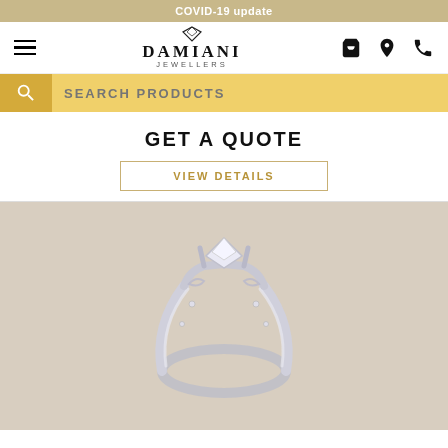COVID-19 update
[Figure (logo): Damiani Jewellers logo with hamburger menu, cart, location, and phone icons]
SEARCH PRODUCTS
GET A QUOTE
VIEW DETAILS
[Figure (photo): A solitaire diamond engagement ring with ornate band, side view on beige/tan background]